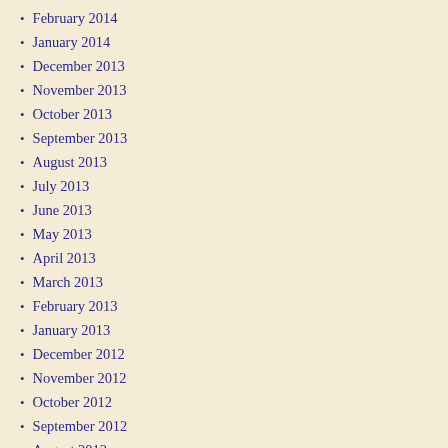February 2014
January 2014
December 2013
November 2013
October 2013
September 2013
August 2013
July 2013
June 2013
May 2013
April 2013
March 2013
February 2013
January 2013
December 2012
November 2012
October 2012
September 2012
August 2012
July 2012
June 2012
May 2012